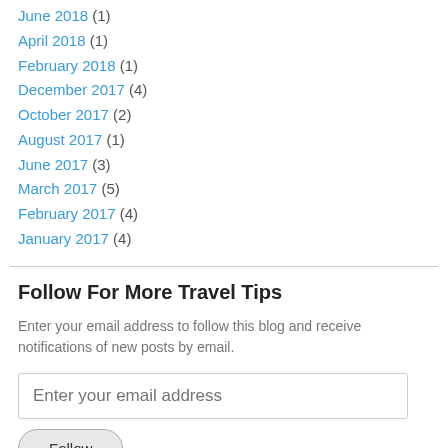June 2018 (1)
April 2018 (1)
February 2018 (1)
December 2017 (4)
October 2017 (2)
August 2017 (1)
June 2017 (3)
March 2017 (5)
February 2017 (4)
January 2017 (4)
Follow For More Travel Tips
Enter your email address to follow this blog and receive notifications of new posts by email.